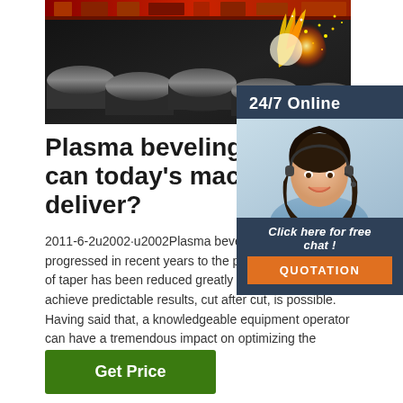[Figure (photo): Industrial plasma cutting machine cutting metal pipes/tubes with bright sparks and fire, dark industrial setting]
[Figure (photo): 24/7 Online support widget with a smiling woman wearing a headset, dark blue background, with 'Click here for free chat!' text and orange QUOTATION button]
Plasma beveling: What can today's machines deliver?
2011-6-2u2002·u2002Plasma beveling technology has progressed in recent years to the point where the degree of taper has been reduced greatly and the ability to achieve predictable results, cut after cut, is possible. Having said that, a knowledgeable equipment operator can have a tremendous impact on optimizing the equipment's performance.
[Figure (other): Green 'Get Price' button]